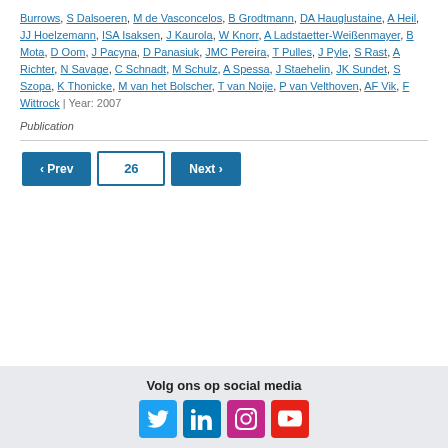Burrows, S Dalsoeren, M de Vasconcelos, B Grodtmann, DA Hauglustaine, A Heil, JJ Hoelzemann, ISA Isaksen, J Kaurola, W Knorr, A Ladstaetter-Weißenmayer, B Mota, D Oom, J Pacyna, D Panasiuk, JMC Pereira, T Pulles, J Pyle, S Rast, A Richter, N Savage, C Schnadt, M Schulz, A Spessa, J Staehelin, JK Sundet, S Szopa, K Thonicke, M van het Bolscher, T van Noije, P van Velthoven, AF Vik, F Wittrock | Year: 2007
Publication
‹ Prev  26  Next ›
Volg ons op social media